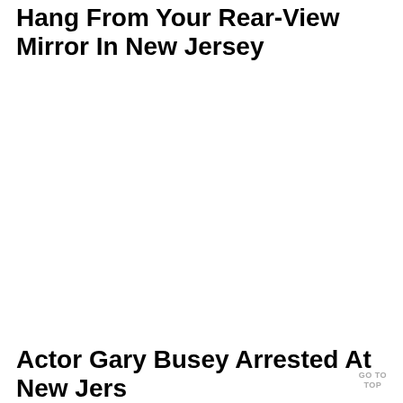Hang From Your Rear-View Mirror In New Jersey
Actor Gary Busey Arrested At New Jers
GO TO TOP